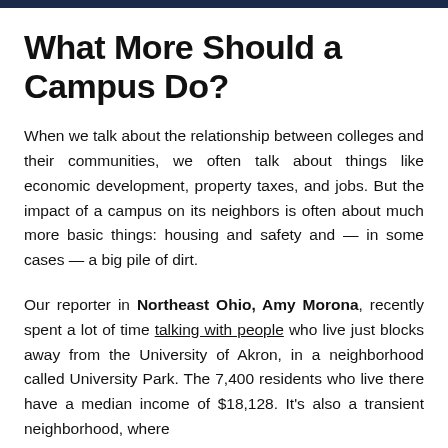What More Should a Campus Do?
When we talk about the relationship between colleges and their communities, we often talk about things like economic development, property taxes, and jobs. But the impact of a campus on its neighbors is often about much more basic things: housing and safety and — in some cases — a big pile of dirt.
Our reporter in Northeast Ohio, Amy Morona, recently spent a lot of time talking with people who live just blocks away from the University of Akron, in a neighborhood called University Park. The 7,400 residents who live there have a median income of $18,128. It's also a transient neighborhood, where